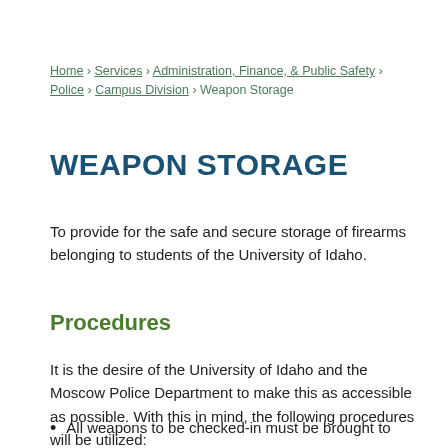Home › Services › Administration, Finance, & Public Safety › Police › Campus Division › Weapon Storage
WEAPON STORAGE
To provide for the safe and secure storage of firearms belonging to students of the University of Idaho.
Procedures
It is the desire of the University of Idaho and the Moscow Police Department to make this as accessible as possible. With this in mind, the following procedures will be utilized:
All weapons to be checked-in must be brought to